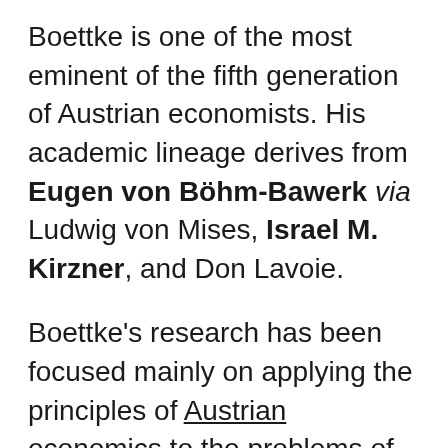Boettke is one of the most eminent of the fifth generation of Austrian economists. His academic lineage derives from Eugen von Böhm-Bawerk via Ludwig von Mises, Israel M. Kirzner, and Don Lavoie.
Boettke's research has been focused mainly on applying the principles of Austrian economics to the problems of development economics.
Boettke has stated that mistaken